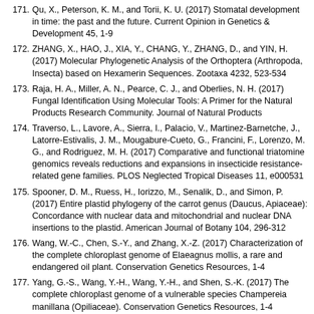171. Qu, X., Peterson, K. M., and Torii, K. U. (2017) Stomatal development in time: the past and the future. Current Opinion in Genetics & Development 45, 1-9
172. ZHANG, X., HAO, J., XIA, Y., CHANG, Y., ZHANG, D., and YIN, H. (2017) Molecular Phylogenetic Analysis of the Orthoptera (Arthropoda, Insecta) based on Hexamerin Sequences. Zootaxa 4232, 523-534
173. Raja, H. A., Miller, A. N., Pearce, C. J., and Oberlies, N. H. (2017) Fungal Identification Using Molecular Tools: A Primer for the Natural Products Research Community. Journal of Natural Products
174. Traverso, L., Lavore, A., Sierra, I., Palacio, V., Martinez-Barnetche, J., Latorre-Estivalis, J. M., Mougabure-Cueto, G., Francini, F., Lorenzo, M. G., and Rodriguez, M. H. (2017) Comparative and functional triatomine genomics reveals reductions and expansions in insecticide resistance-related gene families. PLOS Neglected Tropical Diseases 11, e000531
175. Spooner, D. M., Ruess, H., Iorizzo, M., Senalik, D., and Simon, P. (2017) Entire plastid phylogeny of the carrot genus (Daucus, Apiaceae): Concordance with nuclear data and mitochondrial and nuclear DNA insertions to the plastid. American Journal of Botany 104, 296-312
176. Wang, W.-C., Chen, S.-Y., and Zhang, X.-Z. (2017) Characterization of the complete chloroplast genome of Elaeagnus mollis, a rare and endangered oil plant. Conservation Genetics Resources, 1-4
177. Yang, G.-S., Wang, Y.-H., Wang, Y.-H., and Shen, S.-K. (2017) The complete chloroplast genome of a vulnerable species Champereia manillana (Opiliaceae). Conservation Genetics Resources, 1-4
178. Magyar, D., Merényi, Z., Udvardy, O., Kajtor-Apatini, D., Körmöczi, P., Fülöp